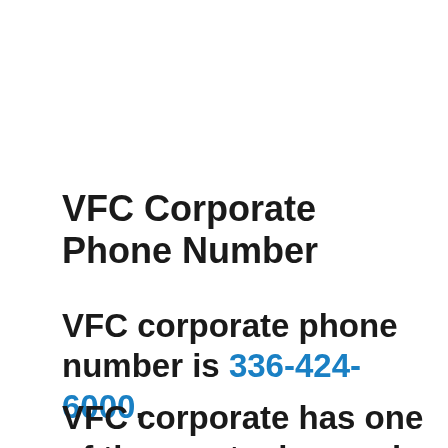VFC Corporate Phone Number
VFC corporate phone number is 336-424-6000.
VFC corporate has one of the most advanced